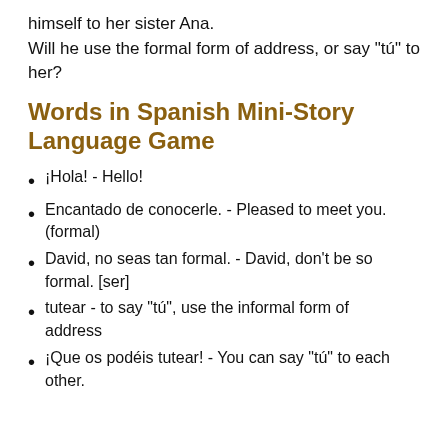himself to her sister Ana. Will he use the formal form of address, or say "tú" to her?
Words in Spanish Mini-Story Language Game
¡Hola! - Hello!
Encantado de conocerle. - Pleased to meet you. (formal)
David, no seas tan formal. - David, don't be so formal. [ser]
tutear - to say "tú", use the informal form of address
¡Que os podéis tutear! - You can say "tú" to each other.